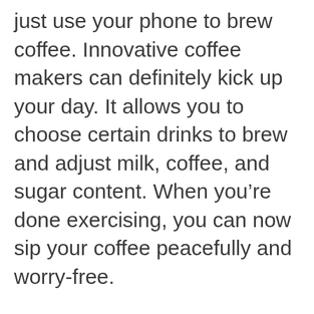just use your phone to brew coffee. Innovative coffee makers can definitely kick up your day. It allows you to choose certain drinks to brew and adjust milk, coffee, and sugar content. When you're done exercising, you can now sip your coffee peacefully and worry-free.